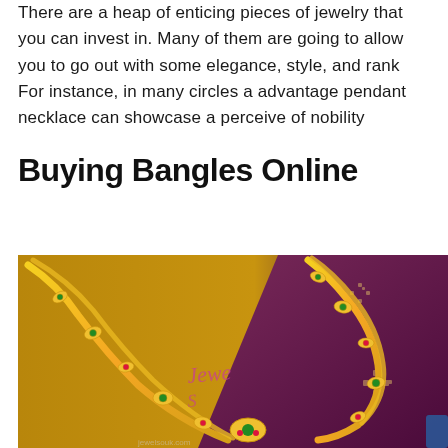There are a heap of enticing pieces of jewelry that you can invest in. Many of them are going to allow you to go out with some elegance, style, and rank For instance, in many circles a advantage pendant necklace can showcase a perceive of nobility
Buying Bangles Online
[Figure (photo): A gold necklace with green and pink gemstone embellishments displayed on a dark maroon/purple fabric background with embroidered pattern. A partial logo text 'Jewel' is visible on the image.]